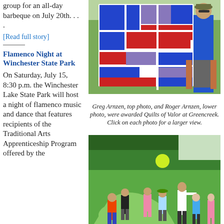group for an all-day barbeque on July 20th. . . .
[Read full story]
Flamenco Night at Winchester State Park
On Saturday, July 15, 8:30 p.m. the Winchester Lake State Park will host a night of flamenco music and dance that features recipients of the Traditional Arts Apprenticeship Program offered by the
[Figure (photo): Man standing outdoors holding up a red, white, and blue quilt with patchwork squares. Green field visible in background.]
Greg Arnzen, top photo, and Roger Arnzen, lower photo, were awarded Quilts of Valor at Greencreek. Click on each photo for a larger view.
[Figure (photo): Children playing outdoors on a green lawn, throwing or catching a large yellow-green ball. Trees and hedges in background.]